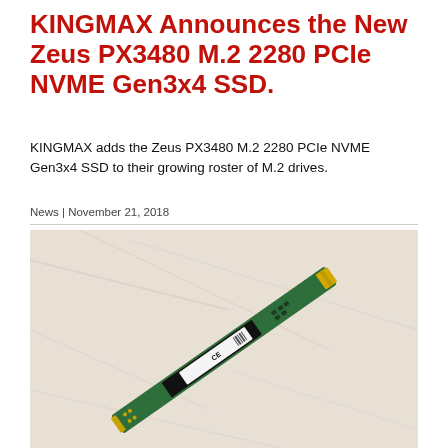KINGMAX Announces the New Zeus PX3480 M.2 2280 PCIe NVME Gen3x4 SSD.
KINGMAX adds the Zeus PX3480 M.2 2280 PCIe NVME Gen3x4 SSD to their growing roster of M.2 drives.
News | November 21, 2018
[Figure (photo): Photo of a KINGMAX Zeus PX3480 M.2 2280 NVMe SSD lying diagonally on a marble/stone surface. The SSD is a slim green PCB with a black NAND chip, a white label showing CE and FCC markings, and gold connectors at one end.]